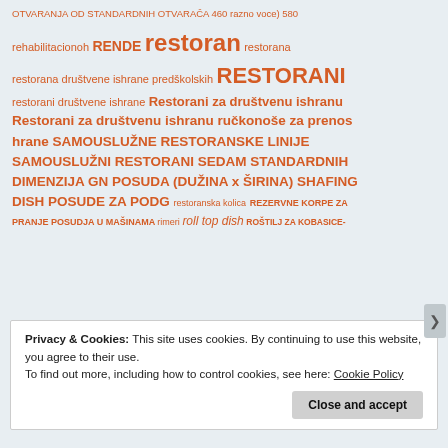OTVARANJA OD STANDARDNIH OTVARAČA 460 razno voce) 580
rehabilitacionoh RENDE restoran restorana
restorana društvene ishrane predškolskih RESTORANI
restorani društvene ishrane Restorani za društvenu ishranu
Restorani za društvenu ishranu ručkonoše za prenos hrane SAMOUSLUŽNE RESTORANSKE LINIJE
SAMOUSLUŽNI RESTORANI SEDAM STANDARDNIH DIMENZIJA GN POSUDA (DUŽINA x ŠIRINA) SHAFING DISH POSUDE ZA PODG restoranska kolica REZERVNE KORPE ZA PRANJE POSUDJA U MAŠINAMA rimeri roll top dish ROŠTILJ ZA KOBASICE-
Privacy & Cookies: This site uses cookies. By continuing to use this website, you agree to their use.
To find out more, including how to control cookies, see here: Cookie Policy
Close and accept